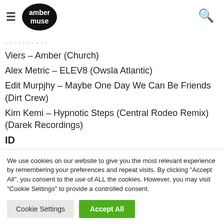amber muse
Viers – Amber (Church)
Alex Metric – ELEV8 (Owsla Atlantic)
Edit Murpjhy – Maybe One Day We Can Be Friends (Dirt Crew)
Kim Kemi – Hypnotic Steps (Central Rodeo Remix) (Darek Recordings)
ID
We use cookies on our website to give you the most relevant experience by remembering your preferences and repeat visits. By clicking "Accept All", you consent to the use of ALL the cookies. However, you may visit "Cookie Settings" to provide a controlled consent.